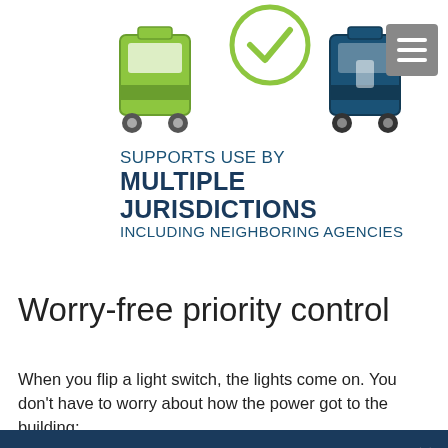[Figure (illustration): Illustration of bus/transit vehicle icons in green and dark teal/navy colors, representing multiple jurisdictions]
SUPPORTS USE BY MULTIPLE JURISDICTIONS INCLUDING NEIGHBORING AGENCIES
Worry-free priority control
When you flip a light switch, the lights come on. You don't have to worry about how the power got to the building;
This website uses cookies to enhance user experience and to analyze performance and traffic on our website. We also share information about your use of our site with our social media, advertising and analytics partners. Privacy Policy.
Accept All Cookies